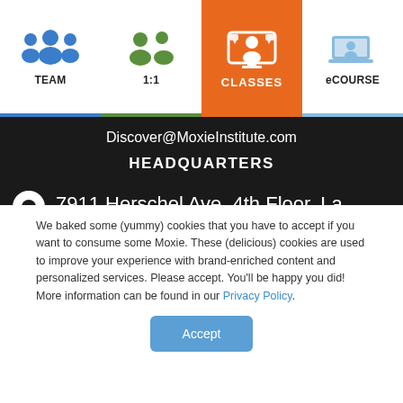[Figure (infographic): Navigation cards: TEAM (blue group icon), 1:1 (green two-person icon), CLASSES (orange with white icons, elevated/active), eCOURSE (blue laptop with person icon)]
Discover@MoxieInstitute.com
HEADQUARTERS
7911 Herschel Ave, 4th Floor, La Jolla, CA 92037
We baked some (yummy) cookies that you have to accept if you want to consume some Moxie. These (delicious) cookies are used to improve your experience with brand-enriched content and personalized services. Please accept. You'll be happy you did! More information can be found in our Privacy Policy.
Accept